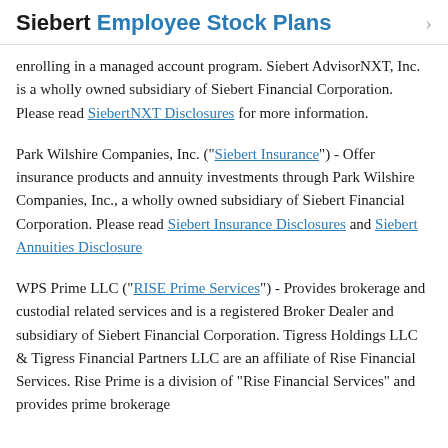Siebert Employee Stock Plans
enrolling in a managed account program. Siebert AdvisorNXT, Inc. is a wholly owned subsidiary of Siebert Financial Corporation. Please read SiebertNXT Disclosures for more information.
Park Wilshire Companies, Inc. ("Siebert Insurance") - Offer insurance products and annuity investments through Park Wilshire Companies, Inc., a wholly owned subsidiary of Siebert Financial Corporation. Please read Siebert Insurance Disclosures and Siebert Annuities Disclosure
WPS Prime LLC ("RISE Prime Services") - Provides brokerage and custodial related services and is a registered Broker Dealer and subsidiary of Siebert Financial Corporation. Tigress Holdings LLC & Tigress Financial Partners LLC are an affiliate of Rise Financial Services. Rise Prime is a division of "Rise Financial Services" and provides prime brokerage